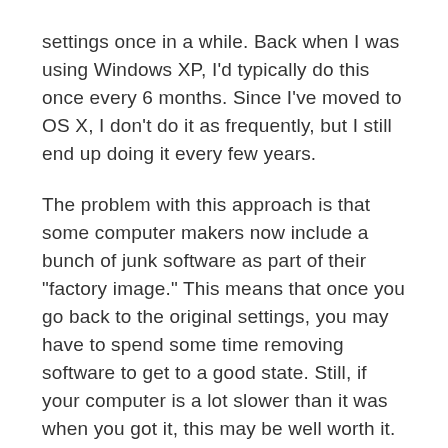settings once in a while. Back when I was using Windows XP, I'd typically do this once every 6 months. Since I've moved to OS X, I don't do it as frequently, but I still end up doing it every few years.
The problem with this approach is that some computer makers now include a bunch of junk software as part of their "factory image." This means that once you go back to the original settings, you may have to spend some time removing software to get to a good state. Still, if your computer is a lot slower than it was when you got it, this may be well worth it.
Before you try something like this, make sure you have not only backups of all of your data, but also of any software you've purchased and will want to reinstall. You don't want to wipe your hard drive only to discover that